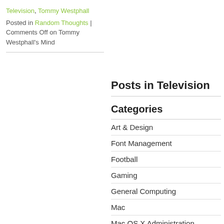Television, Tommy Westphall
Posted in Random Thoughts | Comments Off on Tommy Westphall's Mind
Posts in Television
Categories
Art & Design
Font Management
Football
Gaming
General Computing
Mac
Mac OS X Administration
Programming
Random Thoughts